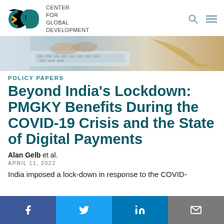CENTER FOR GLOBAL DEVELOPMENT
[Figure (photo): Close-up photo of hands typing on a laptop keyboard with a banana visible in the background]
POLICY PAPERS
Beyond India's Lockdown: PMGKY Benefits During the COVID-19 Crisis and the State of Digital Payments
Alan Gelb et al.
APRIL 11, 2022
India imposed a lock-down in response to the COVID-